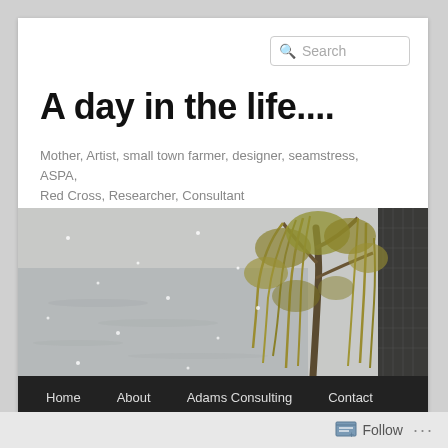Search
A day in the life....
Mother, Artist, small town farmer, designer, seamstress, ASPA, Red Cross, Researcher, Consultant
[Figure (photo): Outdoor winter scene with a willow tree covered in yellow-green foliage drooping in wind or snow, near a body of water with snowflakes visible, dark structure visible on the right.]
Home   About   Adams Consulting   Contact   Photography and Art   Lucky 7 Studios
Follow  ...